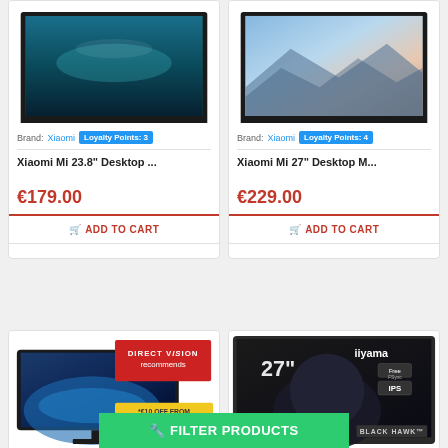[Figure (screenshot): Product card for Xiaomi Mi 23.8" Desktop monitor showing monitor image, brand, loyalty points badge, product name, price €179.00, and Add to Cart button]
[Figure (screenshot): Product card for Xiaomi Mi 27" Desktop Monitor showing monitor image, brand, loyalty points badge, product name, price €229.00, and Add to Cart button]
[Figure (screenshot): Product card for curved monitor with Direct Vision recommends badge overlay, €10 OFF FROM banner, and -17% discount label]
[Figure (screenshot): Product card for iiyama G-Master Black Hawk 27" IPS monitor with FreeSync badge]
🔧 FILTER PRODUCTS